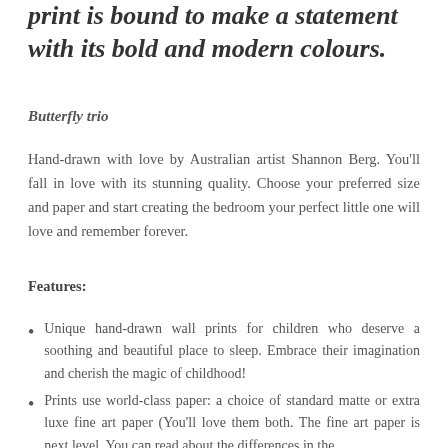print is bound to make a statement with its bold and modern colours.
Butterfly trio
Hand-drawn with love by Australian artist Shannon Berg. You'll fall in love with its stunning quality. Choose your preferred size and paper and start creating the bedroom your perfect little one will love and remember forever.
Features:
Unique hand-drawn wall prints for children who deserve a soothing and beautiful place to sleep. Embrace their imagination and cherish the magic of childhood!
Prints use world-class paper: a choice of standard matte or extra luxe fine art paper (You'll love them both. The fine art paper is next level. You can read about the differences in the